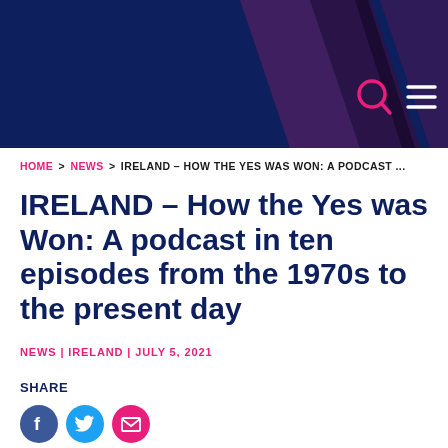[Figure (screenshot): Website header with dark navy background and decorative abstract purple/maroon geometric shapes on the right side. Search icon (magnifying glass) and hamburger menu icon visible on the right.]
HOME > NEWS > IRELAND – HOW THE YES WAS WON: A PODCAST ...
IRELAND – How the Yes was Won: A podcast in ten episodes from the 1970s to the present day
NEWS | IRELAND | JULY 5, 2021
SHARE